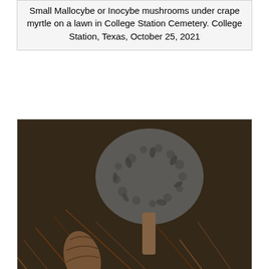Small Mallocybe or Inocybe mushrooms under crape myrtle on a lawn in College Station Cemetery. College Station, Texas, October 25, 2021
[Figure (photo): Small fibrecap mushrooms (Inocybe hystrix or Inocybe lanuginosa) photographed close-up on forest floor with pine needles and green leaves. Brown scaly caps, one fully open showing gills.]
.../2018/2253/12.htm    similar
Small fibrecap mushrooms Wooly Fiber Head (Inocybe hystrix or may be I. lanuginosa) in prairie area near a group of oaks in Lick Creek Park. College Station, Texas, April 30, 2018
[Figure (photo): Close-up photo of lichen growing on bark or rock surface, showing grey-green foliose lichen with small cup-like apothecia structures, and a small brownish mushroom visible at lower right.]